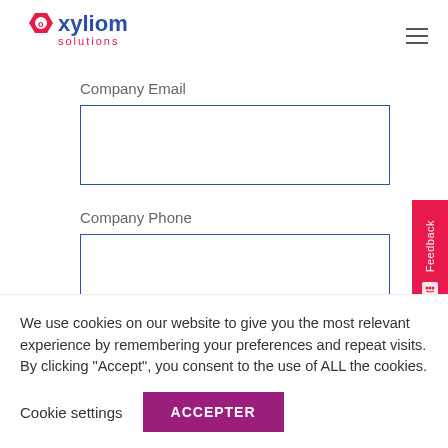[Figure (logo): Oxyliom Solutions logo with red hexagon icon and blue/red text]
Company Email
Company Phone
[Figure (other): Feedback tab button on right side]
We use cookies on our website to give you the most relevant experience by remembering your preferences and repeat visits. By clicking “Accept”, you consent to the use of ALL the cookies.
Cookie settings
ACCEPTER